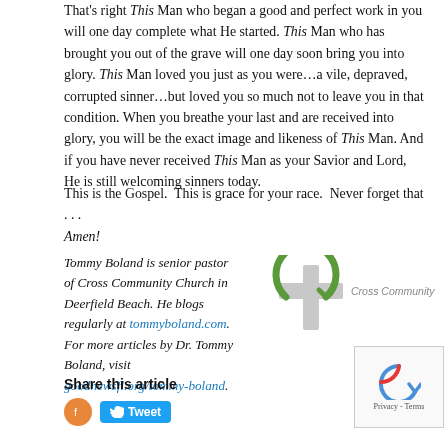That's right This Man who began a good and perfect work in you will one day complete what He started. This Man who has brought you out of the grave will one day soon bring you into glory. This Man loved you just as you were…a vile, depraved, corrupted sinner…but loved you so much not to leave you in that condition. When you breathe your last and are received into glory, you will be the exact image and likeness of This Man. And if you have never received This Man as your Savior and Lord, He is still welcoming sinners today.
This is the Gospel.  This is grace for your race.  Never forget that . . . Amen!
Tommy Boland is senior pastor of Cross Community Church in Deerfield Beach. He blogs regularly at tommyboland.com. For more articles by Dr. Tommy Boland, visit goodnewsfl.org/tommy-boland.
[Figure (logo): Cross Community Church logo with a green circular arrow around a white cross and text 'Cross Community Church']
Share this article